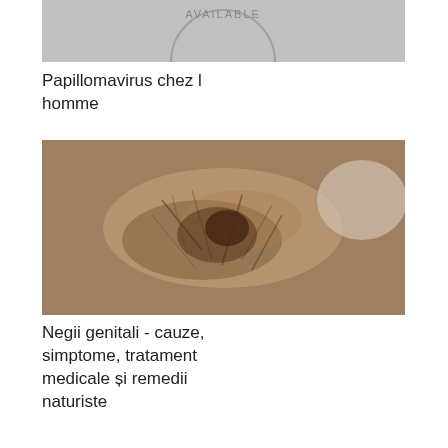[Figure (photo): Partial view of a 'Not Available' placeholder image at top of page - gray circular icon with text 'AVAILABLE']
Papillomavirus chez l homme
[Figure (photo): Close-up medical photo showing genital warts on skin with hair]
Negii genitali - cauze, simptome, tratament medicale și remedii naturiste
[Figure (photo): Product image of Fares Crușin Ceai Laxativ herbal tea box, green packaging]
Ceai Laxativ | blogenglezacopii.ro
[Figure (photo): Partial view of another medical/health image at bottom, partially cut off]